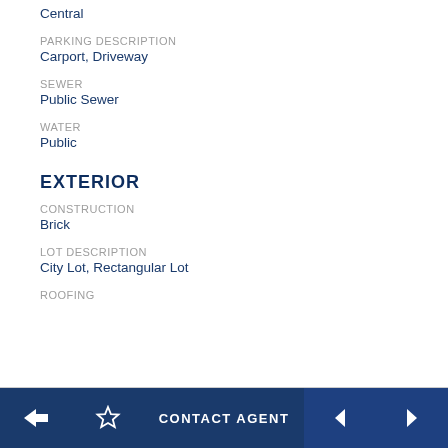Central
PARKING DESCRIPTION
Carport, Driveway
SEWER
Public Sewer
WATER
Public
EXTERIOR
CONSTRUCTION
Brick
LOT DESCRIPTION
City Lot, Rectangular Lot
ROOFING
← ☆ CONTACT AGENT ◄ ►